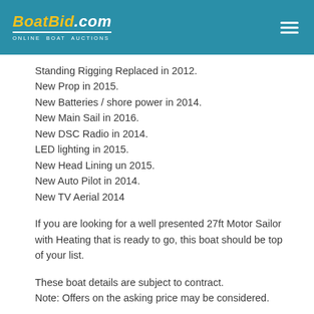BoatBid.com ONLINE BOAT AUCTIONS
Standing Rigging Replaced in 2012.
New Prop in 2015.
New Batteries / shore power in 2014.
New Main Sail in 2016.
New DSC Radio in 2014.
LED lighting in 2015.
New Head Lining un 2015.
New Auto Pilot in 2014.
New TV Aerial 2014
If you are looking for a well presented 27ft Motor Sailor with Heating that is ready to go, this boat should be top of your list.
These boat details are subject to contract.
Note: Offers on the asking price may be considered.